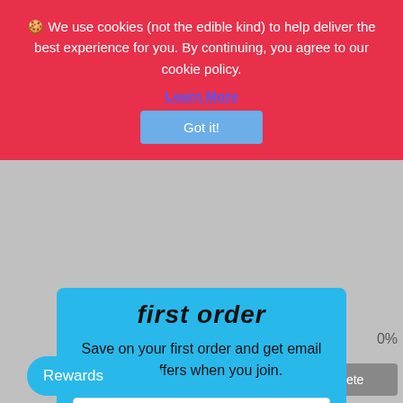🍪 We use cookies (not the edible kind) to help deliver the best experience for you. By continuing, you agree to our cookie policy.
Learn More
Got it!
first order
Save on your first order and get email only offers when you join.
Email
Continue
Rewards